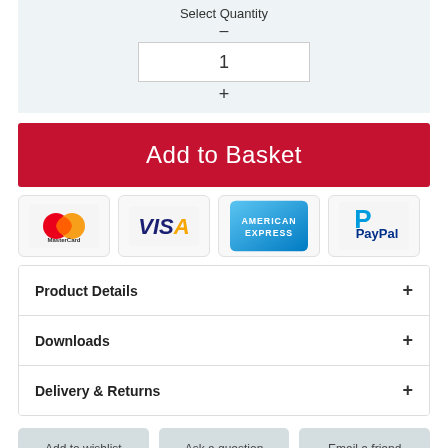Select Quantity
–
1
+
Add to Basket
[Figure (logo): MasterCard payment logo with red and orange overlapping circles]
[Figure (logo): VISA payment logo with blue and gold letters]
[Figure (logo): American Express payment logo with blue background and white text]
[Figure (logo): PayPal payment logo with blue P and dark blue text]
Product Details +
Downloads +
Delivery & Returns +
Add to wishlist
Ask a question
Email a friend